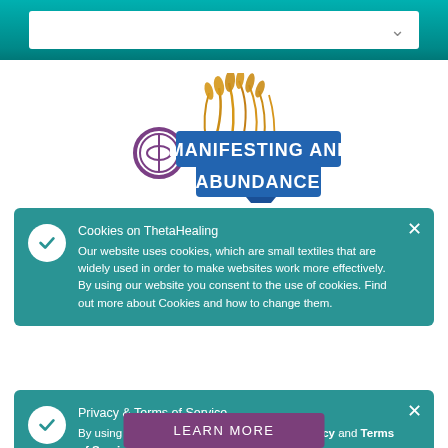[Figure (screenshot): Website header with search bar dropdown on teal background]
[Figure (logo): Manifesting and Abundance logo with decorative wheat/grass imagery and circular ThetaHealing emblem]
Cookies on ThetaHealing
Our website uses cookies, which are small textiles that are widely used in order to make websites work more effectively. By using our website you consent to the use of cookies. Find out more about Cookies and how to change them.
Privacy & Terms of Service
By using this site, you agree to the Privacy Policy and Terms of Service.
LEARN MORE